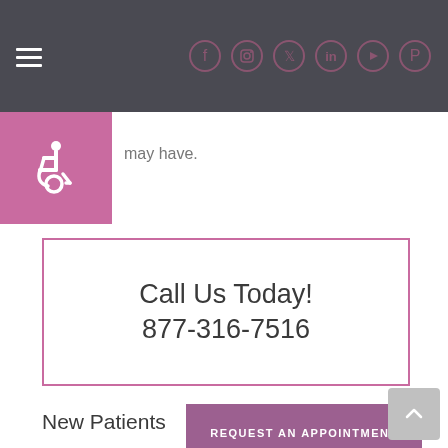Navigation header with hamburger menu and social icons (Facebook, Instagram, Twitter, LinkedIn, YouTube, Pinterest)
[Figure (illustration): Pink square with white wheelchair accessibility icon]
may have.
Call Us Today!
877-316-7516
REQUEST AN APPOINTMENT
New Patients